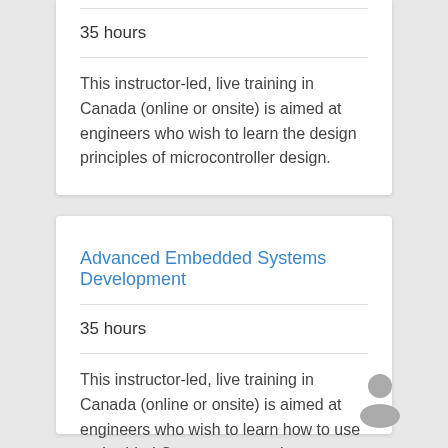35 hours
This instructor-led, live training in Canada (online or onsite) is aimed at engineers who wish to learn the design principles of microcontroller design.
Advanced Embedded Systems Development
35 hours
This instructor-led, live training in Canada (online or onsite) is aimed at engineers who wish to learn how to use embedded C to program various types of microcontrollers based on different processor architectures (8051, ARM CORTEX M-3, and AR